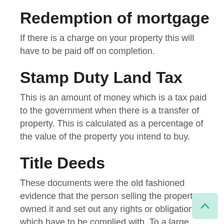Redemption of mortgage
If there is a charge on your property this will have to be paid off on completion.
Stamp Duty Land Tax
This is an amount of money which is a tax paid to the government when there is a transfer of property. This is calculated as a percentage of the value of the property you intend to buy.
Title Deeds
These documents were the old fashioned evidence that the person selling the property owned it and set out any rights or obligations which have to be complied with. To a large extent title deeds have been replaced by the electronic information held be the Land Registry. Title